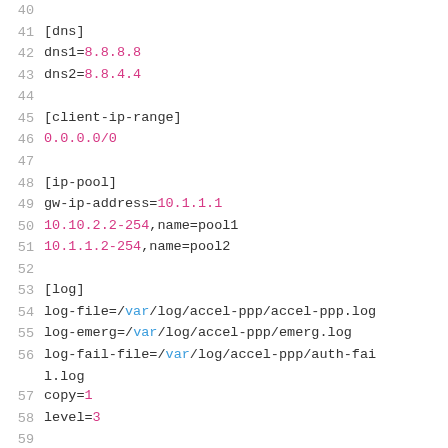[Figure (screenshot): Code editor view showing configuration file lines 40-68 with syntax highlighting. Line numbers in gray on left, section headers in dark text with brackets, keys in dark, values with IP addresses in pink/magenta, path keywords 'var' in blue, and numeric values highlighted.]